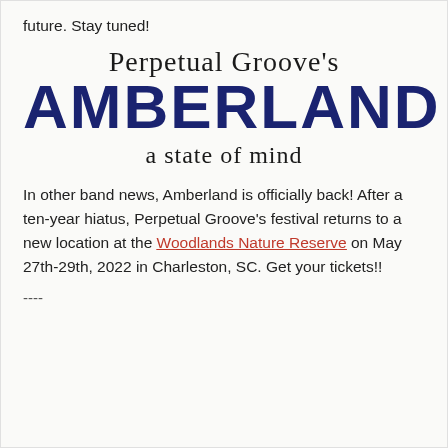future. Stay tuned!
[Figure (logo): Perpetual Groove's Amberland festival logo with script text 'Perpetual Groove's', large bold navy text 'AMBERLAND', and script subtitle 'a state of mind']
In other band news, Amberland is officially back! After a ten-year hiatus, Perpetual Groove's festival returns to a new location at the Woodlands Nature Reserve on May 27th-29th, 2022 in Charleston, SC. Get your tickets!!
----